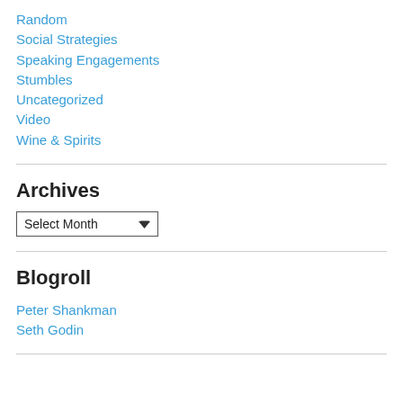Random
Social Strategies
Speaking Engagements
Stumbles
Uncategorized
Video
Wine & Spirits
Archives
[Figure (other): A dropdown select box labeled 'Select Month' with a downward chevron arrow]
Blogroll
Peter Shankman
Seth Godin